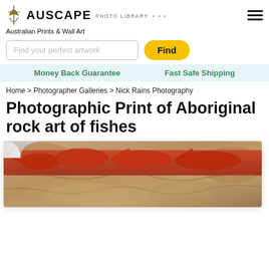AUSCAPE PHOTO LIBRARY
Australian Prints & Wall Art
Find your perfect artwork
Find
Money Back Guarantee   Fast Safe Shipping
Home > Photographer Galleries > Nick Rains Photography
Photographic Print of Aboriginal rock art of fishes
[Figure (photo): Photographic print of Aboriginal rock art showing fish painted in red/ochre pigments on rock surface, displayed as a wide panoramic print with a page-curl effect in the top-left corner.]